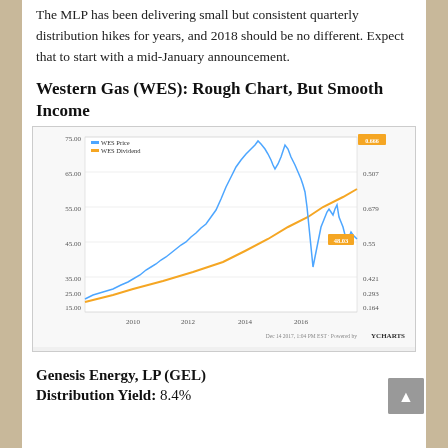The MLP has been delivering small but consistent quarterly distribution hikes for years, and 2018 should be no different. Expect that to start with a mid-January announcement.
Western Gas (WES): Rough Chart, But Smooth Income
[Figure (continuous-plot): Dual-axis line chart showing WES Price (blue line) and WES Dividend (orange line) from approximately 2009 to 2017. The blue price line rises steeply to a peak around 2014 near $75, then drops sharply and recovers partially to around $48.03 by Dec 14 2017. The orange dividend line rises steadily throughout. Right y-axis shows dividend values from 0.164 to 0.5598, left y-axis shows price from 15.00 to 75.00. X-axis shows years 2010, 2012, 2014, 2016. Powered by YCharts watermark visible.]
Genesis Energy, LP (GEL)
Distribution Yield: 8.4%